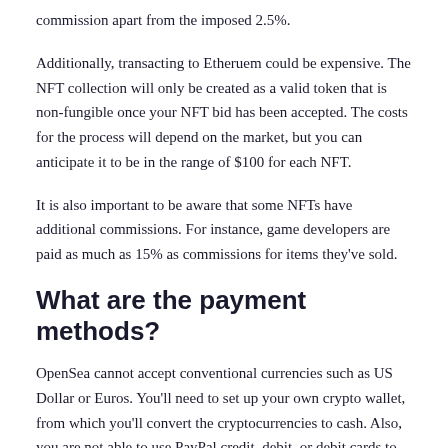commission apart from the imposed 2.5%.
Additionally, transacting to Etheruem could be expensive. The NFT collection will only be created as a valid token that is non-fungible once your NFT bid has been accepted. The costs for the process will depend on the market, but you can anticipate it to be in the range of $100 for each NFT.
It is also important to be aware that some NFTs have additional commissions. For instance, game developers are paid as much as 15% as commissions for items they've sold.
What are the payment methods?
OpenSea cannot accept conventional currencies such as US Dollar or Euros. You'll need to set up your own crypto wallet, from which you'll convert the cryptocurrencies to cash. Also, you are not able to use PayPal credit, debit, or debit cards to